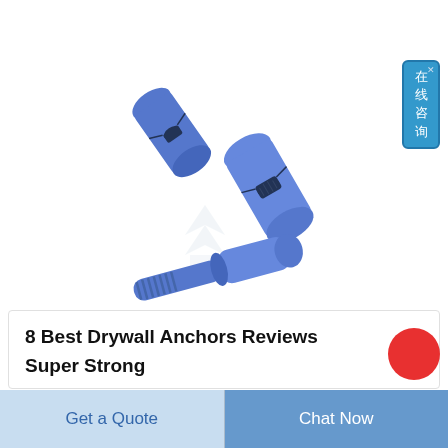[Figure (photo): Three blue plastic drywall anchors / toggle bolts on white background. Two cylindrical anchors with side slots and one screw-type anchor with threaded end.]
[Figure (logo): Faint watermark logo in the center of the product image area.]
8 Best Drywall Anchors Reviews Super Strong
[Figure (other): Partially visible red circle on right side, likely a badge or icon.]
Get a Quote
Chat Now
在线咨询